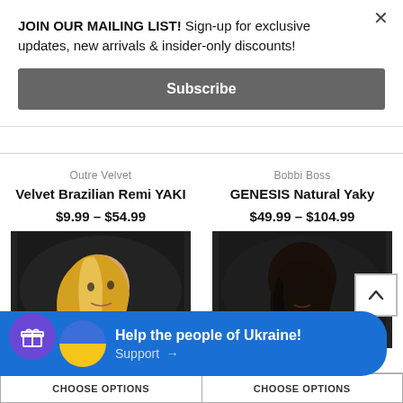JOIN OUR MAILING LIST! Sign-up for exclusive updates, new arrivals & insider-only discounts!
Subscribe
Outre Velvet
Velvet Brazilian Remi YAKI
$9.99 – $54.99
Bobbi Boss
GENESIS Natural Yaky
$49.99 – $104.99
[Figure (photo): Woman with long blonde straight hair, side profile shot on dark background]
[Figure (photo): Woman with short dark brown bob wig, front-facing on dark background]
Help the people of Ukraine! Support →
CHOOSE OPTIONS
CHOOSE OPTIONS